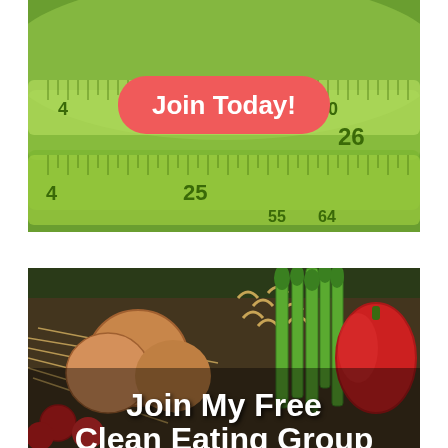[Figure (photo): Close-up photograph of green measuring tape showing numbers 25, 26, 55, 64 with a red rounded button overlay reading 'Join Today!']
[Figure (photo): Photograph of vegetables and pasta on a wooden surface including onions, asparagus, red bell pepper, cherry tomatoes, spaghetti, and macaroni with text overlay reading 'Join My Free Clean Eating Group']